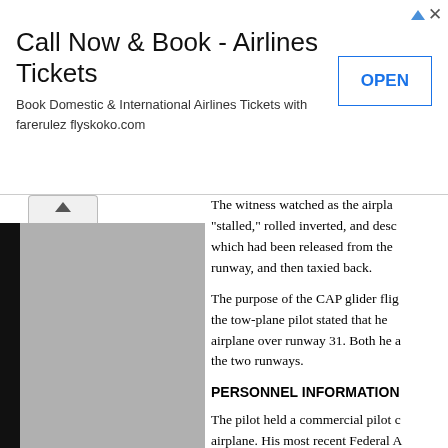[Figure (other): Advertisement banner: Call Now & Book - Airlines Tickets. Book Domestic & International Airlines Tickets with farerulez flyskoko.com. OPEN button.]
[Figure (photo): Thumbnail image panel on the left side of the page, partially visible gray image with black strip on left edge and tab navigation at top.]
The witness watched as the airplane "stalled," rolled inverted, and descended, which had been released from the runway, and then taxied back.
The purpose of the CAP glider flight, the tow-plane pilot stated that he airplane over runway 31. Both he and the two runways.
PERSONNEL INFORMATION
The pilot held a commercial pilot airplane. His most recent Federal A 2013. He reported 1,642 total hours
Photographs of the pilot's logbook 2000, and the first page of entries could not be reconciled. His most last flight recorded in the logbook flight experience, of which 1,124.2 of the accident, the pilot logged 73
According to a representative of the